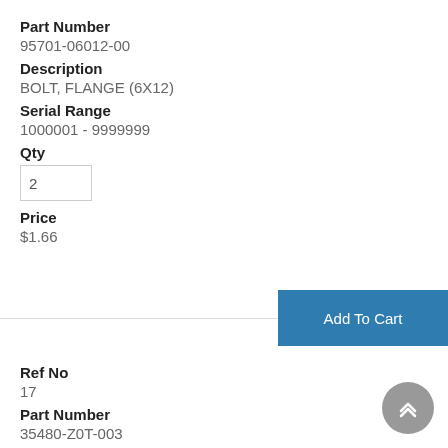Part Number
95701-06012-00
Description
BOLT, FLANGE (6X12)
Serial Range
1000001 - 9999999
Qty
2
Price
$1.66
Add To Cart
Ref No
17
Part Number
35480-Z0T-003
Description
SWITCH ASSY., OIL LEVEL
Serial Range
1802261 - 9999999